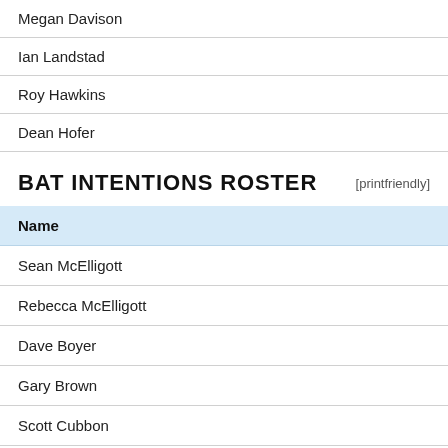Megan Davison
Ian Landstad
Roy Hawkins
Dean Hofer
BAT INTENTIONS ROSTER
| Name |
| --- |
| Sean McElligott |
| Rebecca McElligott |
| Dave Boyer |
| Gary Brown |
| Scott Cubbon |